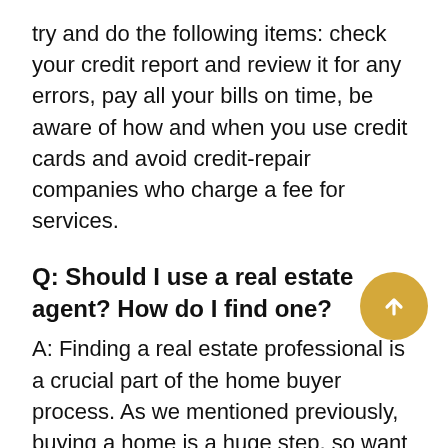try and do the following items: check your credit report and review it for any errors, pay all your bills on time, be aware of how and when you use credit cards and avoid credit-repair companies who charge a fee for services.
Q: Should I use a real estate agent? How do I find one?
A: Finding a real estate professional is a crucial part of the home buyer process. As we mentioned previously, buying a home is a huge step, so want to find someone who will understand your needs and look out for your best interest during this transaction. We've got the tips to finding the perfect real estate professional to help narrow down potential agents for you.